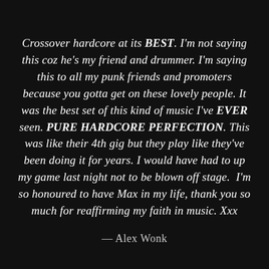Crossover hardcore at its BEST. I'm not saying this coz he's my friend and drummer. I'm saying this to all my punk friends and promoters because you gotta get on these lovely people. It was the best set of this kind of music I've EVER seen. PURE HARDCORE PERFECTION. This was like their 4th gig but they play like they've been doing it for years. I would have had to up my game last night not to be blown off stage.  I'm so honoured to have Max in my life, thank you so much for reaffirming my faith in music. Xxx
— Alex Wonk